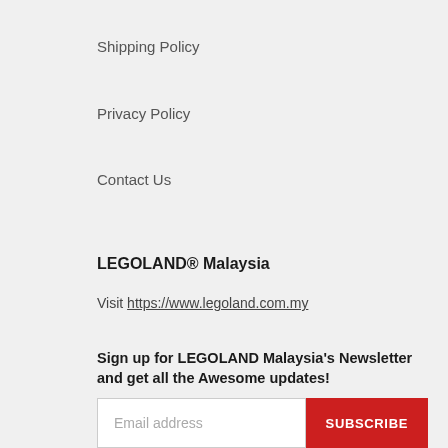Shipping Policy
Privacy Policy
Contact Us
LEGOLAND® Malaysia
Visit https://www.legoland.com.my
Sign up for LEGOLAND Malaysia's Newsletter and get all the Awesome updates!